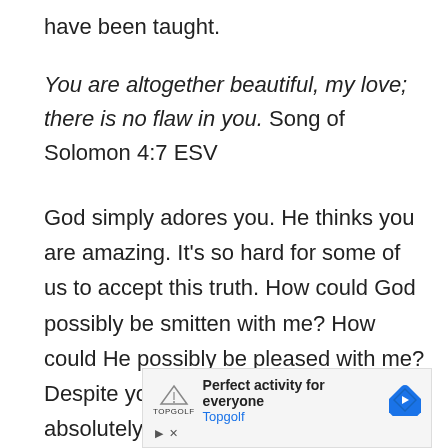have been taught.
You are altogether beautiful, my love; there is no flaw in you. Song of Solomon 4:7 ESV
God simply adores you. He thinks you are amazing. It's so hard for some of us to accept this truth. How could God possibly be smitten with me? How could He possibly be pleased with me? Despite your doubts, it is reality. He is absolutely head over heels in love with you.
[Figure (infographic): Advertisement banner for Topgolf: 'Perfect activity for everyone' with Topgolf logo and a blue diamond navigation arrow icon, with close/skip controls below.]